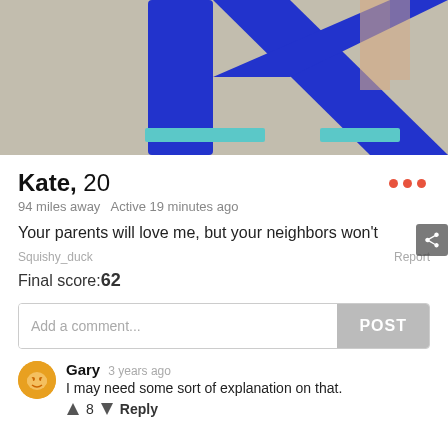[Figure (photo): Top portion of a dating app profile photo showing a large blue letter K on a concrete surface with person's legs visible]
Kate, 20
94 miles away   Active 19 minutes ago
Your parents will love me, but your neighbors won't
Squishy_duck
Report
Final score:62
Add a comment...
POST
Gary  3 years ago
I may need some sort of explanation on that.
8   Reply